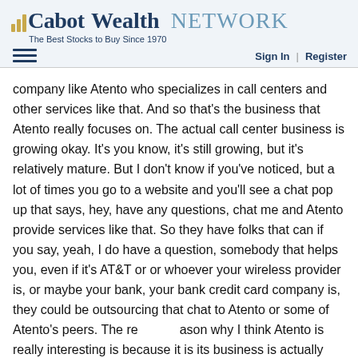[Figure (logo): Cabot Wealth Network logo with bar chart icon and tagline 'The Best Stocks to Buy Since 1970']
Sign In | Register
company like Atento who specializes in call centers and other services like that. And so that's the business that Atento really focuses on. The actual call center business is growing okay. It's you know, it's still growing, but it's relatively mature. But I don't know if you've noticed, but a lot of times you go to a website and you'll see a chat pop up that says, hey, have any questions, chat me and Atento provide services like that. So they have folks that can if you say, yeah, I do have a question, somebody that helps you, even if it's AT&T or or whoever your wireless provider is, or maybe your bank, your bank credit card company is, they could be outsourcing that chat to Atento or some of Atento's peers. The reason why I think Atento is really interesting is because it is its business is actually growing on an organic basis and the industry